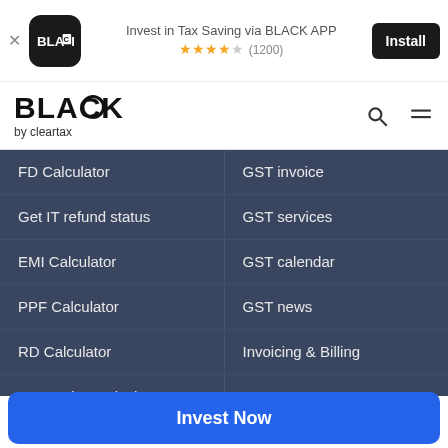[Figure (screenshot): Ad banner for BLACK APP by ClearTax with install button, logo, star rating 4.5 (1200)]
[Figure (logo): BLACK by ClearTax logo with search and menu icons]
FD Calculator
GST invoice
Get IT refund status
GST services
EMI Calculator
GST calendar
PPF Calculator
GST news
RD Calculator
Invoicing & Billing
Tax Saving Calculator
ClearServices
NPS Calculator
Tax filing for professionals
Home Loan EMI Calculator
Tax filing for traders
HSN Code Finder (truncated)
Invest Now